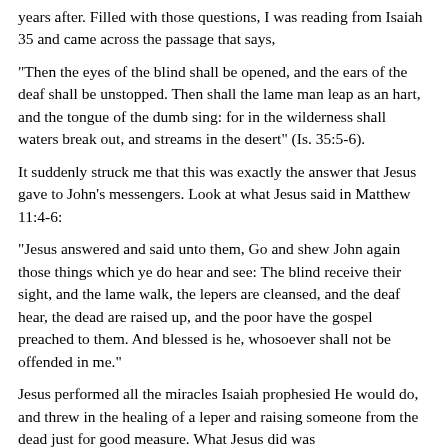years after. Filled with those questions, I was reading from Isaiah 35 and came across the passage that says,
"Then the eyes of the blind shall be opened, and the ears of the deaf shall be unstopped. Then shall the lame man leap as an hart, and the tongue of the dumb sing: for in the wilderness shall waters break out, and streams in the desert" (Is. 35:5-6).
It suddenly struck me that this was exactly the answer that Jesus gave to John's messengers. Look at what Jesus said in Matthew 11:4-6:
"Jesus answered and said unto them, Go and shew John again those things which ye do hear and see: The blind receive their sight, and the lame walk, the lepers are cleansed, and the deaf hear, the dead are raised up, and the poor have the gospel preached to them. And blessed is he, whosoever shall not be offended in me."
Jesus performed all the miracles Isaiah prophesied He would do, and threw in the healing of a leper and raising someone from the dead just for good measure. What Jesus did was